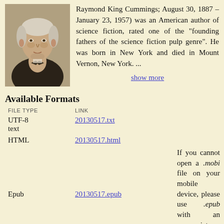[Figure (photo): Black and white portrait photograph of an elderly man, Ray Cummings, facing slightly left, wearing a suit and bow tie]
Raymond King Cummings; August 30, 1887 – January 23, 1957) was an American author of science fiction, rated one of the "founding fathers of the science fiction pulp genre". He was born in New York and died in Mount Vernon, New York. ...
show more
Available Formats
| FILE TYPE | LINK |  |
| --- | --- | --- |
| UTF-8 text | 20130517.txt |  |
| HTML | 20130517.html |  |
| Epub | 20130517.epub | If you cannot open a .mobi file on your mobile device, please use .epub with an appropriate eReader. |
| Mobi/Kindle | 20130517.mobi | Not all Kindles or Kindle apps open all .mobi files. |
| PDF (tablet) | 20130517-a5.pdf |  |